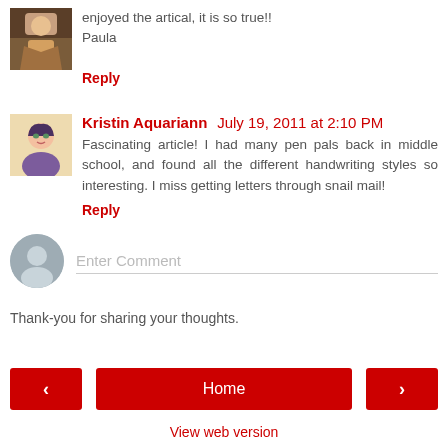enjoyed the artical, it is so true!!
Paula
Reply
Kristin Aquariann  July 19, 2011 at 2:10 PM
Fascinating article! I had many pen pals back in middle school, and found all the different handwriting styles so interesting. I miss getting letters through snail mail!
Reply
Enter Comment
Thank-you for sharing your thoughts.
Home
View web version